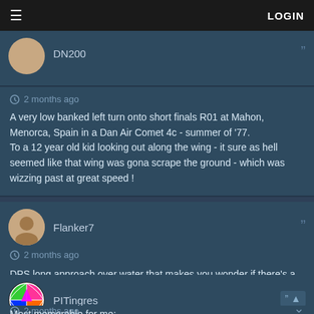LOGIN
DN200
2 months ago
A very low banked left turn onto short finals R01 at Mahon, Menorca, Spain in a Dan Air Comet 4c - summer of '77.
To a 12 year old kid looking out along the wing - it sure as hell seemed like that wing was gona scrape the ground - which was wizzing past at great speed !
Flanker7
2 months ago
DPS long approach over water that makes you wonder if there's a runway.
PITingres
2 months ago
Most memorable for me: